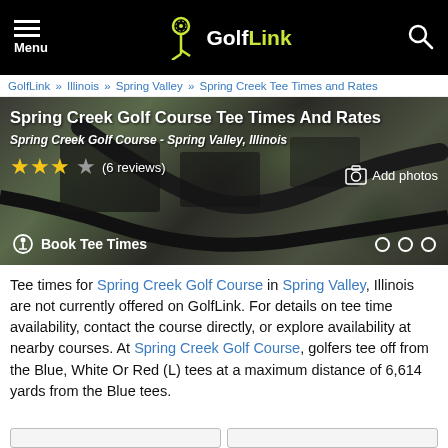Menu | GolfLink | Search
GolfLink » Illinois » Spring Valley » Spring Creek Tee Times and Rates
[Figure (photo): Aerial view of Spring Creek Golf Course with overlaid text: title 'Spring Creek Golf Course Tee Times And Rates', subtitle 'Spring Creek Golf Course - Spring Valley, Illinois', 3.5 star rating (6 reviews), Add photos button, Book Tee Times button, and three dots navigation indicator]
Tee times for Spring Creek Golf Course in Spring Valley, Illinois are not currently offered on GolfLink. For details on tee time availability, contact the course directly, or explore availability at nearby courses. At Spring Creek Golf Course, golfers tee off from the Blue, White Or Red (L) tees at a maximum distance of 6,614 yards from the Blue tees.